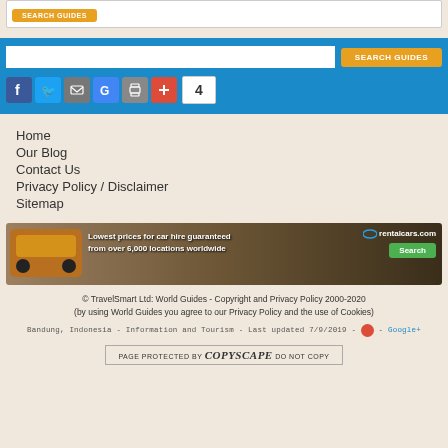[Figure (screenshot): Top partial white card with orange button visible at top]
[Figure (screenshot): Blue banner with search input, SEARCH GUIDES button, and social share icons (Facebook, Twitter, Email, Google, Print, Plus) with count badge showing 4]
Home
Our Blog
Contact Us
Privacy Policy / Disclaimer
Sitemap
[Figure (photo): rentalcars.com advertisement banner showing an orange car with mountains in background, text: Lowest prices for car hire guaranteed from over 6,000 locations worldwide, with Search button]
© TravelSmart Ltd: World Guides - Copyright and Privacy Policy 2000-2020 (by using World Guides you agree to our Privacy Policy and the use of Cookies)
Bandung, Indonesia - Information and Tourism - Last updated 7/9/2019 - Google+
[Figure (other): PAGE PROTECTED BY COPYSCAPE DO NOT COPY badge]